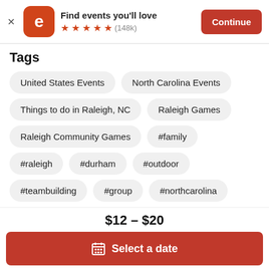[Figure (screenshot): Eventbrite app banner with orange icon showing letter e, app title 'Find events you'll love', 5 orange stars with (148k) reviews, and an orange Continue button]
Tags
United States Events
North Carolina Events
Things to do in Raleigh, NC
Raleigh Games
Raleigh Community Games
#family
#raleigh
#durham
#outdoor
#teambuilding
#group
#northcarolina
$12 – $20
Select a date